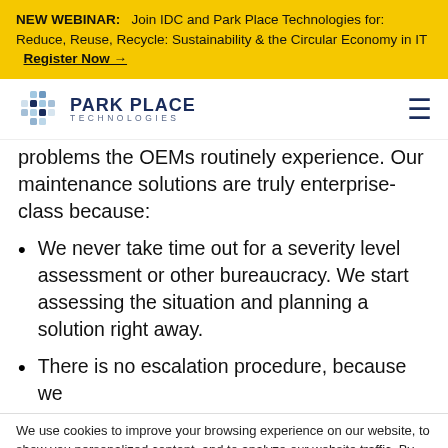NEW WEBINAR: Join IDC and Park Place Technologies for: Reduce, Reuse, Recycle: Sustainability & the Circular Economy in IT   Register Now →
[Figure (logo): Park Place Technologies logo with diamond/dot grid icon and text PARK PLACE TECHNOLOGIES, plus hamburger menu icon]
problems the OEMs routinely experience. Our maintenance solutions are truly enterprise-class because:
We never take time out for a severity level assessment or other bureaucracy. We start assessing the situation and planning a solution right away.
There is no escalation procedure, because we
We use cookies to improve your browsing experience on our website, to show you personalized content, and to analyze our website traffic. By continuing to browse this site, you're providing consent for us to use cookies.  Privacy Policy